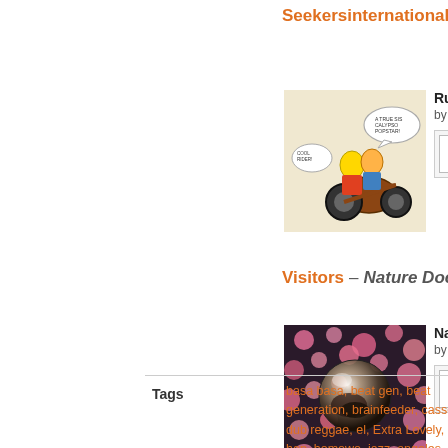Seekersinternational – RunCOm...
[Figure (illustration): Comic-book style illustration of figures on a motorcycle]
RunComeTes... by SEEKERS...
Visitors – Nature Documentary
[Figure (photo): Aerial/overhead photo of flowers and a circular reflective object]
Nature Docu... by Visitors
Tags
basa basa, beat gen, beat generation, brainfeeder, cassette, dub reggae, el, Extra Lovely, hip hop, homowo, jazz, angeles, music, new york, producer,